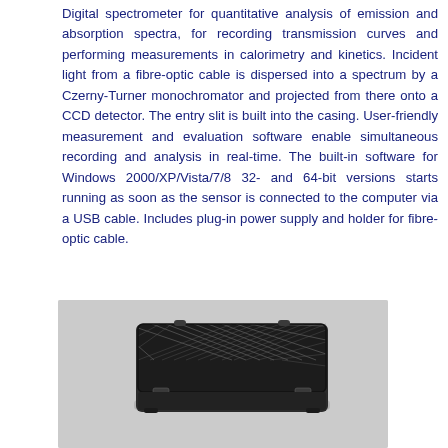Digital spectrometer for quantitative analysis of emission and absorption spectra, for recording transmission curves and performing measurements in calorimetry and kinetics. Incident light from a fibre-optic cable is dispersed into a spectrum by a Czerny-Turner monochromator and projected from there onto a CCD detector. The entry slit is built into the casing. User-friendly measurement and evaluation software enable simultaneous recording and analysis in real-time. The built-in software for Windows 2000/XP/Vista/7/8 32- and 64-bit versions starts running as soon as the sensor is connected to the computer via a USB cable. Includes plug-in power supply and holder for fibre-optic cable.
[Figure (photo): Photo of a black hard-shell carrying case with a diamond/checkered pattern on the lid, shown against a light grey background. The case appears to be a protective equipment case for the spectrometer.]